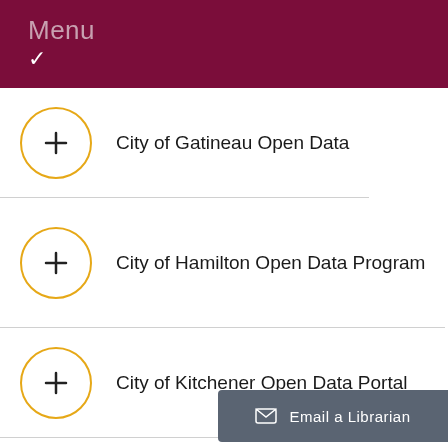Menu
City of Gatineau Open Data
City of Hamilton Open Data Program
City of Kitchener Open Data Portal
City of Lo...
Email a Librarian